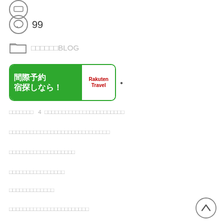[Figure (other): Circular chat bubble icon with grey border at top]
99
[Figure (other): Folder icon with grey border]
□□□□□□BLOG
[Figure (other): Rakuten Travel banner ad - green box with white Japanese text '間際予約 宿探しなら！' and Rakuten Travel logo on white side]
□□□□□□□　4　□□□□□□□□□□□□□□□□□□□□□□□
□□□□□□□□□□□□□□□□□□□□□□□□□□□□□
□□□□□□□□□□□□□□□□□□□
□□□□□□□□□□□□□□□□
□□□□□□□□□□□□□
□□□□□□□□□□□□□□□□□□□□□□□
[Figure (other): Back to top arrow button, circular grey border with up chevron]